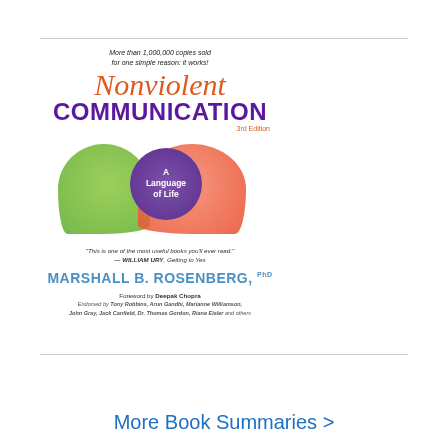[Figure (illustration): Book cover of 'Nonviolent Communication: A Language of Life, 3rd Edition' by Marshall B. Rosenberg, PhD. Features the title in orange italic script and bold purple text, overlapping green and red speech bubbles with a purple circle in the center reading 'A Language of Life'. Tagline: 'More than 1,000,000 copies sold for one simple reason: it works!' Quote from William Ury. Foreword by Deepak Chopra. Endorsed by Tony Robbins, Arun Gandhi, Marianne Williamson, John Gray, Jack Canfield, Dr. Thomas Gordon, Riane Eisler, and others.]
More Book Summaries >